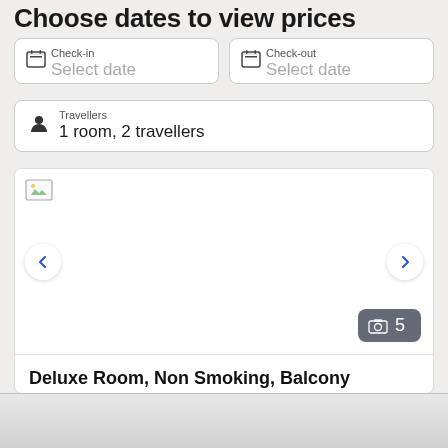Choose dates to view prices
Check-in
Select date
Check-out
Select date
Travellers
1 room, 2 travellers
[Figure (screenshot): Hotel room photo carousel showing a broken image placeholder, left and right navigation arrows, and a photo count badge showing 5 photos]
Deluxe Room, Non Smoking, Balcony (Deluxe Spa Room)